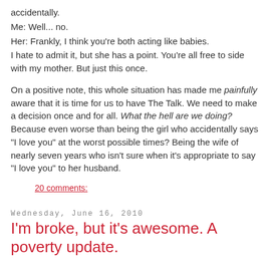accidentally.
Me: Well... no.
Her: Frankly, I think you're both acting like babies.
I hate to admit it, but she has a point. You're all free to side with my mother. But just this once.
On a positive note, this whole situation has made me painfully aware that it is time for us to have The Talk. We need to make a decision once and for all. What the hell are we doing? Because even worse than being the girl who accidentally says "I love you" at the worst possible times? Being the wife of nearly seven years who isn't sure when it's appropriate to say "I love you" to her husband.
20 comments:
Wednesday, June 16, 2010
I'm broke, but it's awesome. A poverty update.